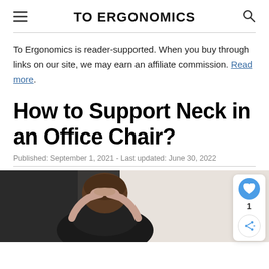TO ERGONOMICS
To Ergonomics is reader-supported. When you buy through links on our site, we may earn an affiliate commission. Read more.
How to Support Neck in an Office Chair?
Published: September 1, 2021 - Last updated: June 30, 2022
[Figure (photo): A person sitting with hands clasped behind their head/neck, viewed from behind, wearing dark clothing, with brown hair.]